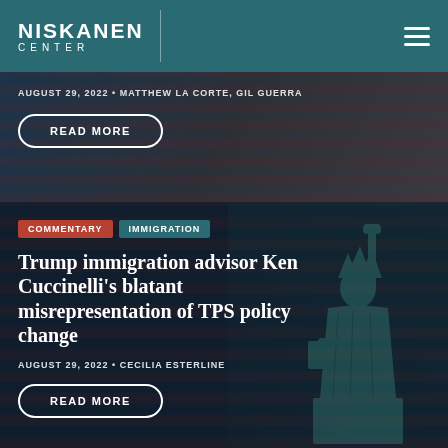NISKANEN CENTER
AUGUST 29, 2022 • MATTHEW LA CORTE, GIL GUERRA
READ MORE
COMMENTARY   IMMIGRATION
Trump immigration advisor Ken Cuccinelli's blatant misrepresentation of TPS policy change
AUGUST 29, 2022 • CECILIA ESTERLINE
READ MORE